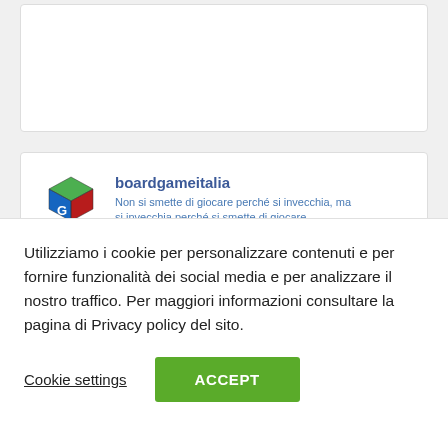[Figure (other): Empty white card / content placeholder at top of page]
[Figure (other): boardgameitalia Facebook-style social widget card with logo, site name, tagline, and thumbnail image strip]
Utilizziamo i cookie per personalizzare contenuti e per fornire funzionalità dei social media e per analizzare il nostro traffico. Per maggiori informazioni consultare la pagina di Privacy policy del sito.
Cookie settings
ACCEPT